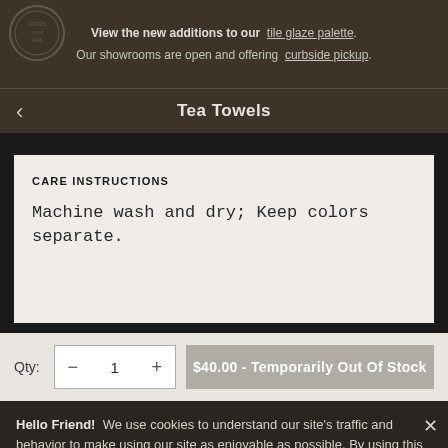View the new additions to our tile glaze palette. Our showrooms are open and offering curbside pickup.
Tea Towels
CARE INSTRUCTIONS
Machine wash and dry; Keep colors separate.
Qty: 1  $40.00 - Temporarily Out Of Stock
Hello Friend! We use cookies to understand our site's traffic and behavior to make using our site as enjoyable as possible. By using this site you agree to our Privacy Policy. Thank you!